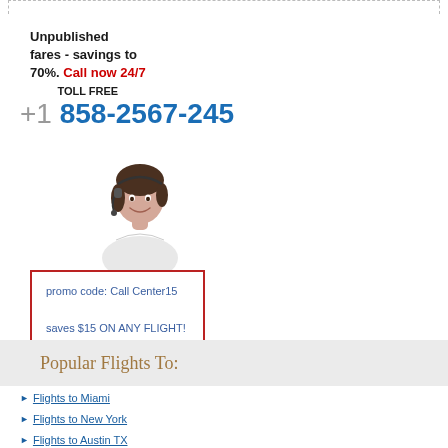Unpublished fares - savings to 70%. Call now 24/7 TOLL FREE
+1 858-2567-245
[Figure (illustration): Customer service agent with headset, smiling, white background]
promo code: Call Center15
saves $15 ON ANY FLIGHT!
Popular Flights To:
Flights to Miami
Flights to New York
Flights to Austin TX
Flights to Minneapolis